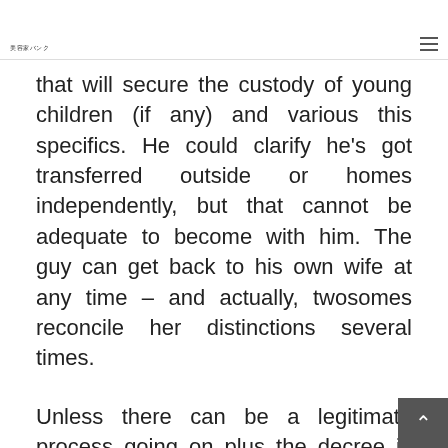美容家バンク
that will secure the custody of young children (if any) and various this specifics. He could clarify he's got transferred outside or homes independently, but that cannot be adequate to become with him. The guy can get back to his own wife at any time – and actually, twosomes reconcile her distinctions several times.
Unless there can be a legitimate process going on plus the decree is closed, it generates no good sense to be with a